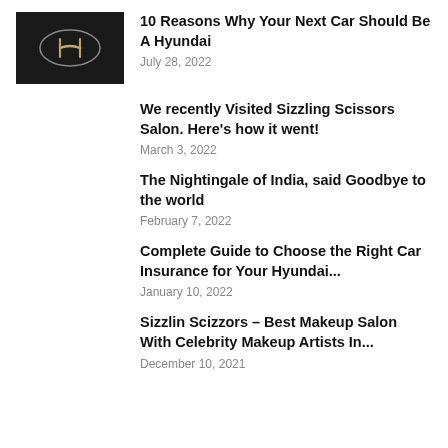[Figure (photo): Hyundai logo badge on dark background]
10 Reasons Why Your Next Car Should Be A Hyundai
July 28, 2022
We recently Visited Sizzling Scissors Salon. Here's how it went!
March 3, 2022
The Nightingale of India, said Goodbye to the world
February 7, 2022
Complete Guide to Choose the Right Car Insurance for Your Hyundai...
January 10, 2022
Sizzlin Scizzors – Best Makeup Salon With Celebrity Makeup Artists In...
December 10, 2021